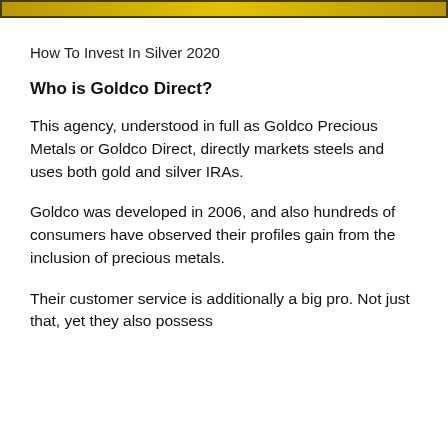How To Invest In Silver 2020
Who is Goldco Direct?
This agency, understood in full as Goldco Precious Metals or Goldco Direct, directly markets steels and uses both gold and silver IRAs.
Goldco was developed in 2006, and also hundreds of consumers have observed their profiles gain from the inclusion of precious metals.
Their customer service is additionally a big pro. Not just that, yet they also possess